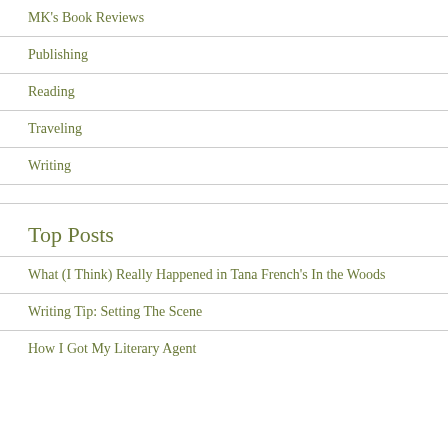MK's Book Reviews
Publishing
Reading
Traveling
Writing
Top Posts
What (I Think) Really Happened in Tana French's In the Woods
Writing Tip: Setting The Scene
How I Got My Literary Agent